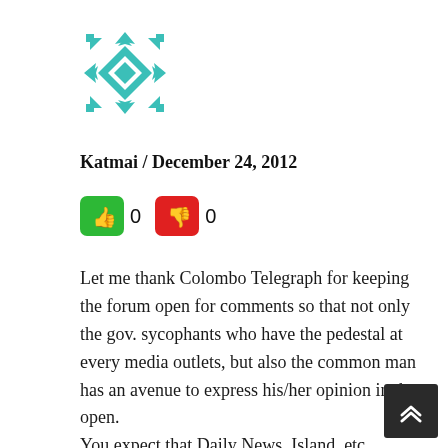[Figure (illustration): Teal geometric/aztec pattern avatar icon, square shaped]
Katmai / December 24, 2012
[Figure (infographic): Green thumbs-up button with count 0, Red thumbs-down button with count 0]
Let me thank Colombo Telegraph for keeping the forum open for comments so that not only the gov. sycophants who have the pedestal at every media outlets, but also the common man has an avenue to express his/her opinion in the open.
You expect that Daily News, Island, etc. would not want opposing views from the common man to be displayed on their sites. But I am disappointed to see sites like DBSJ